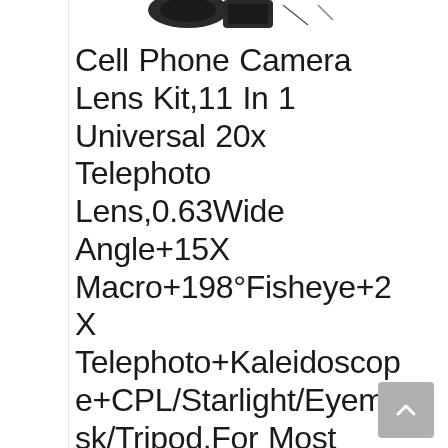[Figure (photo): Partial product image of a cell phone camera lens kit visible at the top of the page]
Cell Phone Camera Lens Kit,11 In 1 Universal 20x Telephoto Lens,0.63Wide Angle+15X Macro+198°Fisheye+2X Telephoto+Kaleidoscope+CPL/Starlight/Eyemask/Tripod,For Most IPhone Smartphone